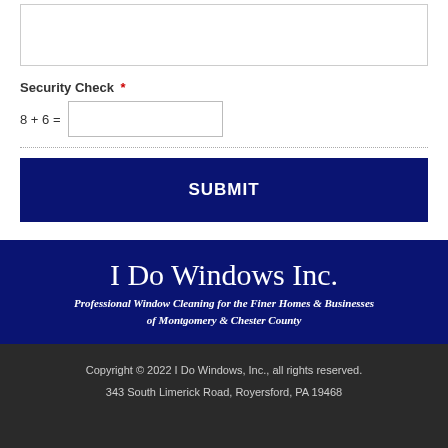Security Check *
SUBMIT
I Do Windows Inc.
Professional Window Cleaning for the Finer Homes & Businesses of Montgomery & Chester County
Copyright © 2022 I Do Windows, Inc., all rights reserved. 343 South Limerick Road, Royersford, PA 19468